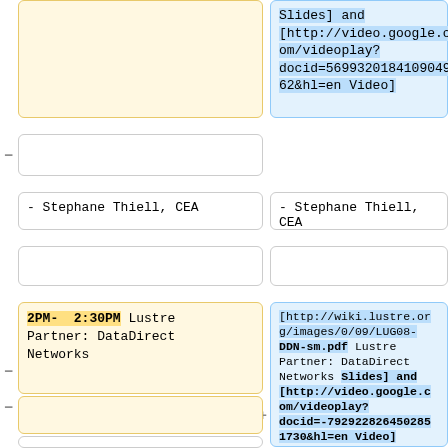(top left cell - empty/truncated)
Slides] and [http://video.google.com/videoplay?docid=5699320184109049 62&hl=en Video]
- (empty cell)
- Stephane Thiell, CEA
- Stephane Thiell, CEA
(empty cell left)
(empty cell right)
2PM- 2:30PM Lustre Partner: DataDirect Networks
[http://wiki.lustre.org/images/0/09/LUG08-DDN-sm.pdf Lustre Partner: DataDirect Networks Slides] and [http://video.google.com/videoplay?docid=-7929228264502851730&hl=en Video]
- (empty)
(bottom cell)